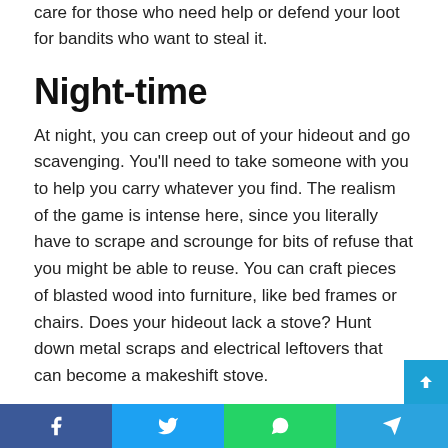care for those who need help or defend your loot for bandits who want to steal it.
Night-time
At night, you can creep out of your hideout and go scavenging. You’ll need to take someone with you to help you carry whatever you find. The realism of the game is intense here, since you literally have to scrape and scrounge for bits of refuse that you might be able to reuse. You can craft pieces of blasted wood into furniture, like bed frames or chairs. Does your hideout lack a stove? Hunt down metal scraps and electrical leftovers that can become a makeshift stove.
Morale
Facebook Twitter WhatsApp Telegram